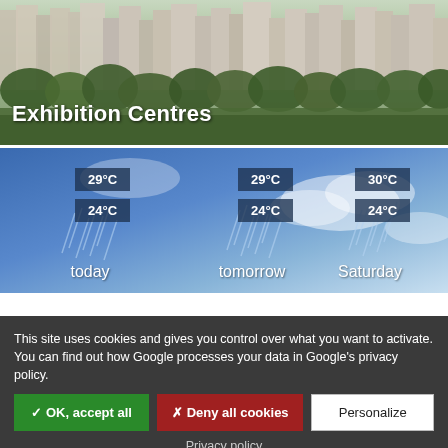[Figure (photo): City skyline with high-rise buildings and trees, with 'Exhibition Centres' text overlay]
Exhibition Centres
[Figure (infographic): Weather forecast widget showing rainy/cloudy sky with temperature data for today (29°C / 24°C), tomorrow (29°C / 24°C), and Saturday (30°C / 24°C)]
This site uses cookies and gives you control over what you want to activate. You can find out how Google processes your data in Google's privacy policy.
✓ OK, accept all   ✗ Deny all cookies   Personalize
Privacy policy